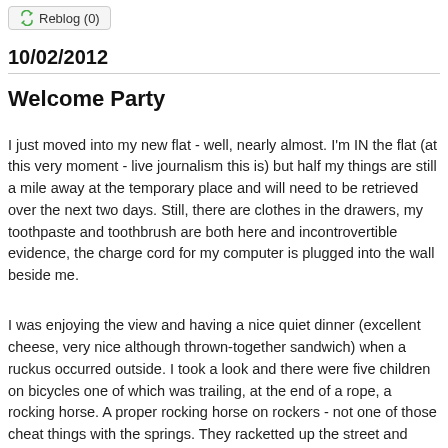Reblog (0)
10/02/2012
Welcome Party
I just moved into my new flat - well, nearly almost. I'm IN the flat (at this very moment - live journalism this is) but half my things are still a mile away at the temporary place and will need to be retrieved over the next two days. Still, there are clothes in the drawers, my toothpaste and toothbrush are both here and incontrovertible evidence, the charge cord for my computer is plugged into the wall beside me.
I was enjoying the view and having a nice quiet dinner (excellent cheese, very nice although thrown-together sandwich) when a ruckus occurred outside. I took a look and there were five children on bicycles one of which was trailing, at the end of a rope, a rocking horse. A proper rocking horse on rockers - not one of those cheat things with the springs. They racketted up the street and were doing beautifully until the horse-trailing boy tried to jump the curb and his faithful steed couldn't follow.
They re-grouped though and the smallest boy dropped off the back of the bike he had been hitching a ride on and climbed, knees up to his ears, onto the rocking horse and together the group heading up the street again, at a fine loping canter.